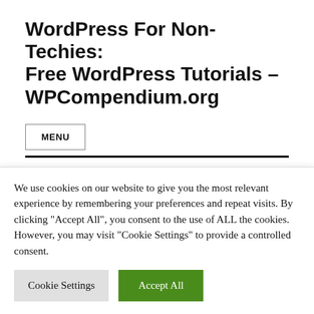WordPress For Non-Techies: Free WordPress Tutorials – WPCompendium.org
MENU
Tag: Using Widgets
We use cookies on our website to give you the most relevant experience by remembering your preferences and repeat visits. By clicking "Accept All", you consent to the use of ALL the cookies. However, you may visit "Cookie Settings" to provide a controlled consent.
Cookie Settings
Accept All